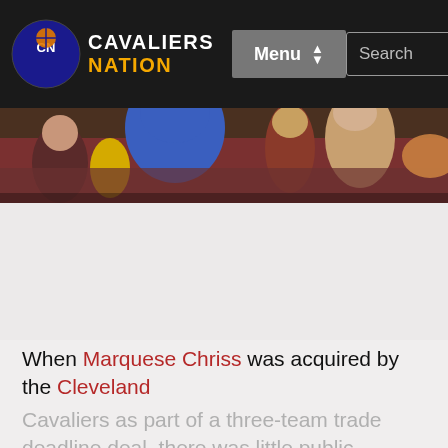Cavaliers Nation — Menu | Search
[Figure (photo): Cropped sports photo showing basketball players and fans in arena seating, partial view]
When Marquese Chriss was acquired by the Cleveland Cavaliers as part of a three-team trade deadline deal, there was little public reaction either from fans or his new teammates.